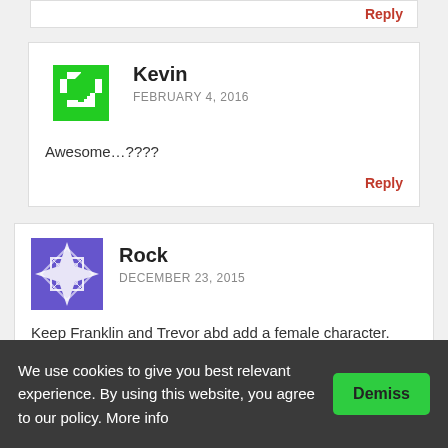Reply
Kevin
FEBRUARY 4, 2016
Awesome…????
Reply
Rock
DECEMBER 23, 2015
Keep Franklin and Trevor abd add a female character. They can get missions from the previous characters like Carl Johnson. And Michael as well as Nico can join them
We use cookies to give you best relevant experience. By using this website, you agree to our policy. More info